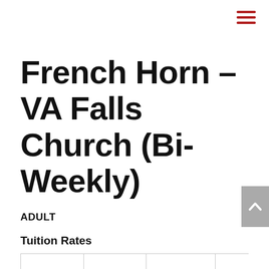French Horn – VA Falls Church (Bi-Weekly)
ADULT
Tuition Rates
| 30mins | 45mins | 60mins | 75m… |
| --- | --- | --- | --- |
| $59.00/… | $85.50/… | $100.50/… | $1… |